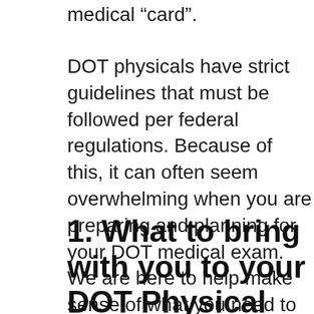medical “card”.
DOT physicals have strict guidelines that must be followed per federal regulations. Because of this, it can often seem overwhelming when you are preparing and planning for your DOT medical exam. We are here to help make sense of what you need to expect at your DOT physical!
1. What to bring with you to your DOT Physical